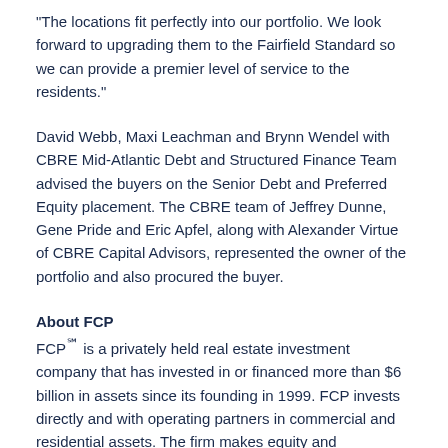"The locations fit perfectly into our portfolio. We look forward to upgrading them to the Fairfield Standard so we can provide a premier level of service to the residents."
David Webb, Maxi Leachman and Brynn Wendel with CBRE Mid-Atlantic Debt and Structured Finance Team advised the buyers on the Senior Debt and Preferred Equity placement. The CBRE team of Jeffrey Dunne, Gene Pride and Eric Apfel, along with Alexander Virtue of CBRE Capital Advisors, represented the owner of the portfolio and also procured the buyer.
About FCP
FCP℠ is a privately held real estate investment company that has invested in or financed more than $6 billion in assets since its founding in 1999. FCP invests directly and with operating partners in commercial and residential assets. The firm makes equity and mezzanine investments in income-producing and development properties. Based in Chevy Chase, MD, FCP invests both its